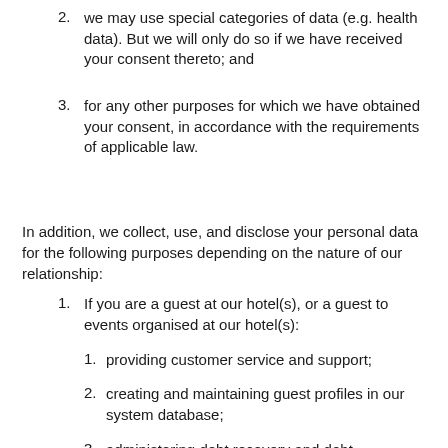2. we may use special categories of data (e.g. health data). But we will only do so if we have received your consent thereto; and
3. for any other purposes for which we have obtained your consent, in accordance with the requirements of applicable law.
In addition, we collect, use, and disclose your personal data for the following purposes depending on the nature of our relationship:
1. If you are a guest at our hotel(s), or a guest to events organised at our hotel(s):
1. providing customer service and support;
2. creating and maintaining guest profiles in our system database;
3. administering debt recovery and debt management; and/or